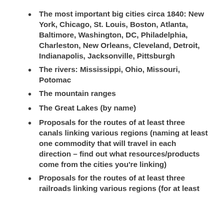The most important big cities circa 1840: New York, Chicago, St. Louis, Boston, Atlanta, Baltimore, Washington, DC, Philadelphia, Charleston, New Orleans, Cleveland, Detroit, Indianapolis, Jacksonville, Pittsburgh
The rivers: Mississippi, Ohio, Missouri, Potomac
The mountain ranges
The Great Lakes (by name)
Proposals for the routes of at least three canals linking various regions (naming at least one commodity that will travel in each direction – find out what resources/products come from the cities you're linking)
Proposals for the routes of at least three railroads linking various regions (for at least...